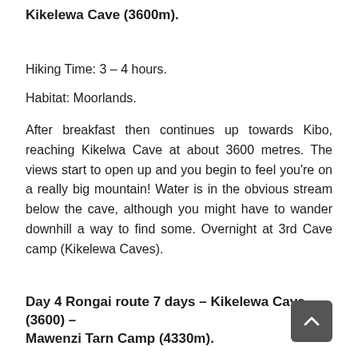Kikelewa Cave (3600m).
Hiking Time: 3 – 4 hours.
Habitat: Moorlands.
After breakfast then continues up towards Kibo, reaching Kikelwa Cave at about 3600 metres. The views start to open up and you begin to feel you're on a really big mountain! Water is in the obvious stream below the cave, although you might have to wander downhill a way to find some. Overnight at 3rd Cave camp (Kikelewa Caves).
Day 4 Rongai route 7 days – Kikelewa Cave (3600) – Mawenzi Tarn Camp (4330m).